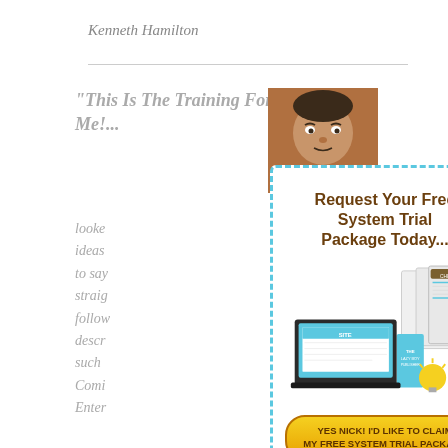Kenneth Hamilton
"This Is The Training For Me!...
[Figure (photo): Headshot photo of a middle-aged man resting his chin on his hands]
looked ideas to say straig follow descr such Comi Enter
[Figure (infographic): Popup overlay with dashed cyan border titled 'Request Your Free System Trial Package Today...' with product images (laptop, cheat sheets, book) and a yellow CTA button reading 'YES NICK! I'D LIKE TO CLAIM MY FREE SYSTEM TRIAL PACKAGE']